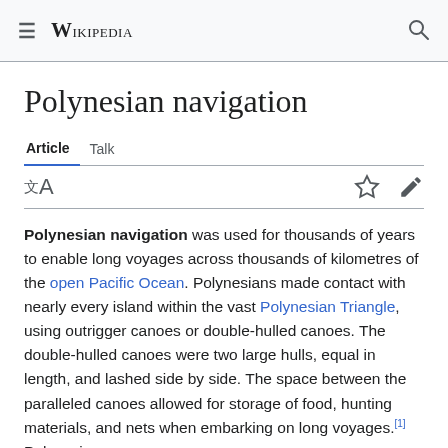Wikipedia
Polynesian navigation
Article   Talk
Polynesian navigation was used for thousands of years to enable long voyages across thousands of kilometres of the open Pacific Ocean. Polynesians made contact with nearly every island within the vast Polynesian Triangle, using outrigger canoes or double-hulled canoes. The double-hulled canoes were two large hulls, equal in length, and lashed side by side. The space between the paralleled canoes allowed for storage of food, hunting materials, and nets when embarking on long voyages.[1] Polynesian